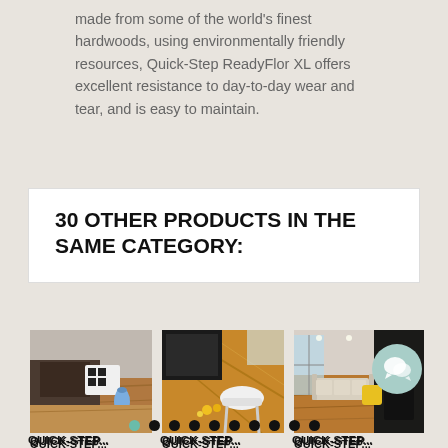made from some of the world's finest hardwoods, using environmentally friendly resources, Quick-Step ReadyFlor XL offers excellent resistance to day-to-day wear and tear, and is easy to maintain.
30 OTHER PRODUCTS IN THE SAME CATEGORY:
[Figure (photo): Interior room with wooden floor, dark furniture, black and white patterned fabric, and a blue vase]
QUICK-STEP...
[Figure (photo): Overhead view of wooden floor with dining chairs and yellow decorative items]
QUICK-STEP...
[Figure (photo): Living room with wooden floor, light sofa, black wall accent, and yellow chair]
QUICK-STEP...